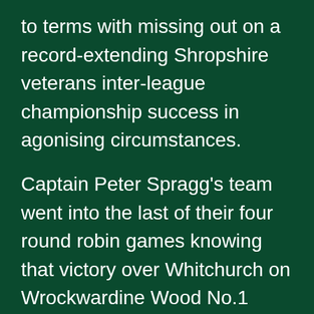to terms with missing out on a record-extending Shropshire veterans inter-league championship success in agonising circumstances.

Captain Peter Spragg's team went into the last of their four round robin games knowing that victory over Whitchurch on Wrockwardine Wood No.1 would clinch a sixth triumph in the 8-a-side one-day competition that was launched in 2011.

It was effectively a final at teatime on Saturday 11th June, a winner-takes-all clash that could